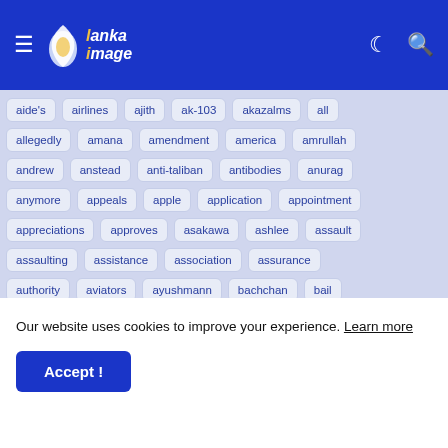Lanka Image - navigation bar with hamburger menu, logo, dark mode and search icons
aide's
airlines
ajith
ak-103
akazalms
all
allegedly
amana
amendment
america
amrullah
andrew
anstead
anti-taliban
antibodies
anurag
anymore
appeals
apple
application
appointment
appreciations
approves
asakawa
ashlee
assault
assaulting
assistance
association
assurance
authority
aviators
ayushmann
bachchan
bail
bajpayee
bangladesh
banker
banking
bans
Our website uses cookies to improve your experience. Learn more
Accept !